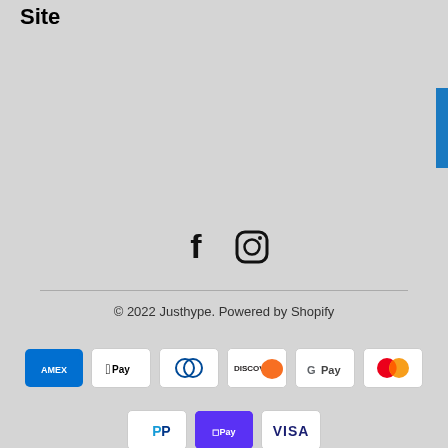Site
[Figure (other): Social media icons: Facebook (f) and Instagram (camera) icons centered on page]
© 2022 Justhype. Powered by Shopify
[Figure (other): Payment method icons: American Express, Apple Pay, Diners Club, Discover, Google Pay, Mastercard, PayPal, ShopPay, Visa]